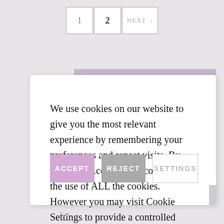1  2  NEXT >
We use cookies on our website to give you the most relevant experience by remembering your preferences and repeat visits. By clicking “Accept”, you consent to the use of ALL the cookies. However you may visit Cookie Settings to provide a controlled consent.
ACCEPT
REJECT
SETTINGS
Bee